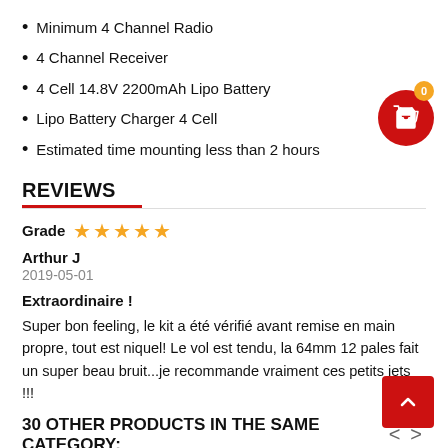Minimum 4 Channel Radio
4 Channel Receiver
4 Cell 14.8V 2200mAh Lipo Battery
Lipo Battery Charger 4 Cell
Estimated time mounting less than 2 hours
REVIEWS
Grade ★★★★★
Arthur J
2019-05-01
Extraordinaire !
Super bon feeling, le kit a été vérifié avant remise en main propre, tout est niquel! Le vol est tendu, la 64mm 12 pales fait un super beau bruit...je recommande vraiment ces petits jets !!!
30 OTHER PRODUCTS IN THE SAME CATEGORY: